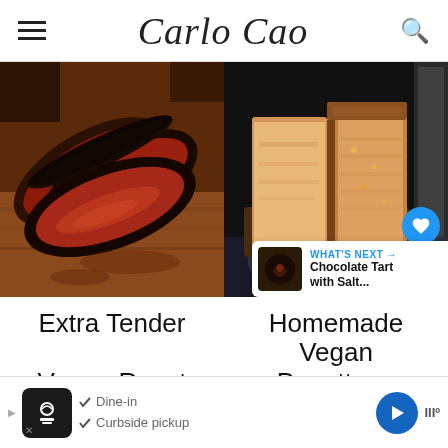Carlo Cao
[Figure (photo): Sliced vegan roast beef with dark pepper crust on a wooden cutting board]
[Figure (photo): Sliced homemade vegan panettone loaf on a dark background with heart and share buttons]
Extra Tender
Homemade Vegan
Vegan Roast Beef
Panettone
[Figure (screenshot): Ad bar showing restaurant info: Dine-in, Curbside pickup options with icons]